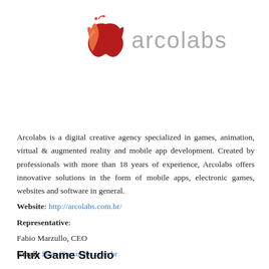[Figure (logo): Arcolabs logo: a red apple-like icon on the left and the word 'arcolabs' in grey sans-serif text on the right]
Arcolabs is a digital creative agency specialized in games, animation, virtual & augmented reality and mobile app development. Created by professionals with more than 18 years of experience, Arcolabs offers innovative solutions in the form of mobile apps, electronic games, websites and software in general.
Website: http://arcolabs.com.br/
Representative:
Fabio Marzullo, CEO
Email: fabio@arcolabs.com.br
Flux Game Studio